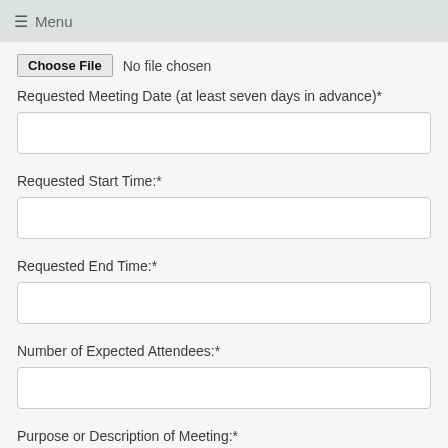≡  Menu
Choose File   No file chosen
Requested Meeting Date (at least seven days in advance)*
Requested Start Time:*
Requested End Time:*
Number of Expected Attendees:*
Purpose or Description of Meeting:*